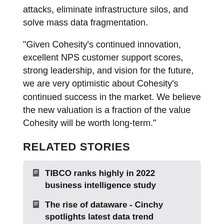attacks, eliminate infrastructure silos, and solve mass data fragmentation.
“Given Cohesity's continued innovation, excellent NPS customer support scores, strong leadership, and vision for the future, we are very optimistic about Cohesity's continued success in the market. We believe the new valuation is a fraction of the value Cohesity will be worth long-term."
RELATED STORIES
TIBCO ranks highly in 2022 business intelligence study
The rise of dataware - Cinchy spotlights latest data trend
Bill Identity Limited rebrands to Optima Technology